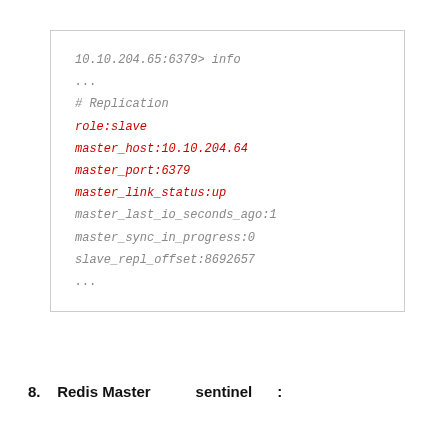[Figure (screenshot): Code block showing Redis replication info output with some lines highlighted in red: role:slave, master_host:10.10.204.64, master_port:6379, master_link_status:up]
8.   Redis Master　　　sentinel　　　: